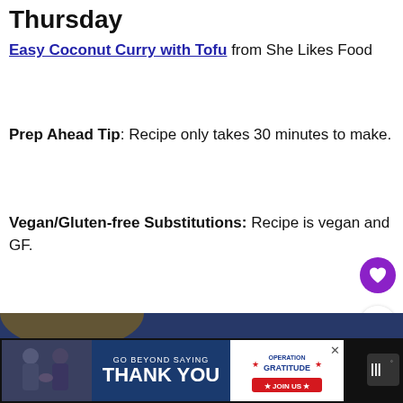Thursday
Easy Coconut Curry with Tofu from She Likes Food
Prep Ahead Tip: Recipe only takes 30 minutes to make.
Vegan/Gluten-free Substitutions: Recipe is vegan and GF.
[Figure (photo): Dark blue background with a bowl of coconut curry with tofu, garnished with fresh cilantro leaves and garlic.]
[Figure (infographic): WHAT'S NEXT banner with a Healthy Vegetarian cookbook badge thumbnail.]
[Figure (infographic): Advertisement banner: GO BEYOND SAYING THANK YOU - Operation Gratitude JOIN US]